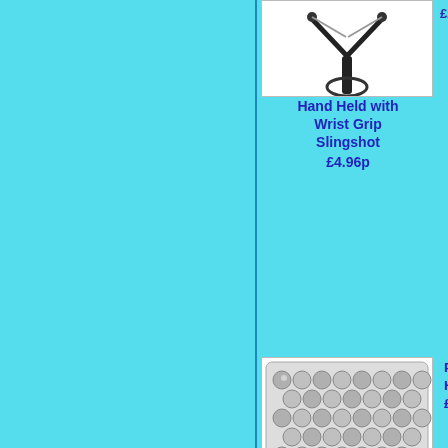[Figure (photo): Hand Held with Wrist Grip Slingshot product photo]
Hand Held with Wrist Grip Slingshot
£4.96p
[Figure (photo): Partial product image on right edge, partially cut off, price £2 visible]
£2...
[Figure (photo): 250 x 6mm small fast Steel Slingshot Ammo product photo - bag of steel balls]
250 x 6mm small fast Steel Slingshot Ammo
£1.99p
[Figure (photo): Power P... Held Sl... partial product - slingshot, price £3... visible]
Power P... Held Sl... £3...
[Figure (photo): Bottom center: bag of steel slingshot ammo balls]
[Figure (photo): Bottom right: partial bag of steel slingshot ammo balls]